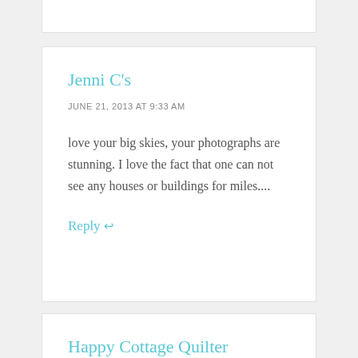Jenni C's
JUNE 21, 2013 AT 9:33 AM
love your big skies, your photographs are stunning. I love the fact that one can not see any houses or buildings for miles....
Reply ↩
Happy Cottage Quilter
JUNE 21, 2013 AT 7:49 AM